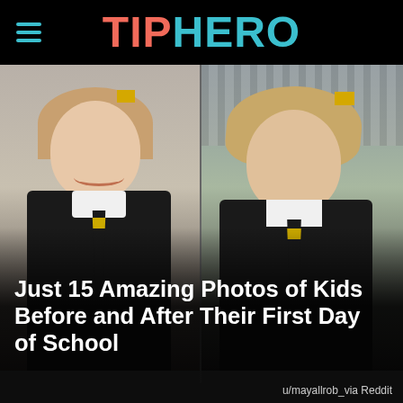TIPHERO
[Figure (photo): Two side-by-side photos of a young girl in a black and yellow school uniform. Left photo shows her smiling and neat before her first day of school. Right photo shows her disheveled and unhappy after her first day of school.]
Just 15 Amazing Photos of Kids Before and After Their First Day of School
u/mayallrob_via Reddit